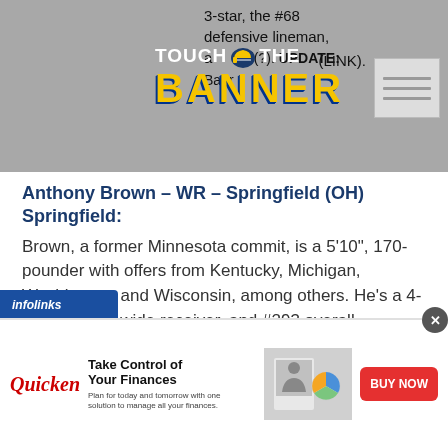3-star, the #68 defensive lineman, and #(?) overall. UPDATE: Bahr (LINK).
[Figure (logo): Touch the Banner logo with Michigan Wolverines helmet]
Anthony Brown – WR – Springfield (OH) Springfield:
Brown, a former Minnesota commit, is a 5'10", 170-pounder with offers from Kentucky, Michigan, Washington, and Wisconsin, among others. He's a 4-star, the #39 wide receiver, and #293 overall.
Jackson Carver – TE – Windsor
[Figure (advertisement): Quicken advertisement: Take Control of Your Finances. Plan for today and tomorrow with one solution to manage all your finances. BUY NOW button.]